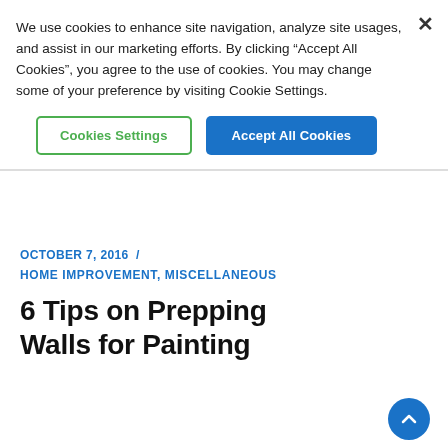We use cookies to enhance site navigation, analyze site usages, and assist in our marketing efforts. By clicking “Accept All Cookies”, you agree to the use of cookies. You may change some of your preference by visiting Cookie Settings.
Cookies Settings
Accept All Cookies
OCTOBER 7, 2016 /
HOME IMPROVEMENT, MISCELLANEOUS
6 Tips on Prepping Walls for Painting